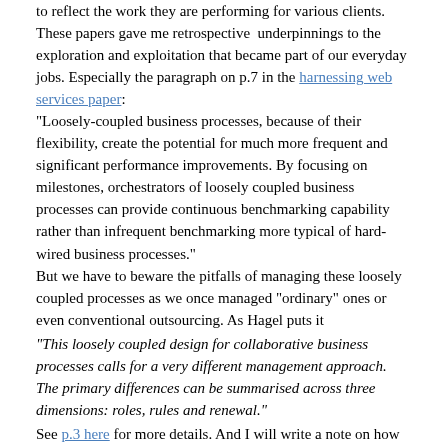to reflect the work they are performing for various clients. These papers gave me retrospective  underpinnings to the exploration and exploitation that became part of our everyday jobs. Especially the paragraph on p.7 in the harnessing web services paper: "Loosely-coupled business processes, because of their flexibility, create the potential for much more frequent and significant performance improvements. By focusing on milestones, orchestrators of loosely coupled business processes can provide continuous benchmarking capability rather than infrequent benchmarking more typical of hard-wired business processes." But we have to beware the pitfalls of managing these loosely coupled processes as we once managed "ordinary" ones or even conventional outsourcing. As Hagel puts it
"This loosely coupled design for collaborative business processes calls for a very different management approach. The primary differences can be summarised across three dimensions: roles, rules and renewal."
See p.3 here for more details. And I will write a note on how we absorbed all this knowledge to help our packaging creation processes to take us on a Design Journey across the Design Space.
August 20, 2007 in Design Journey | Permalink | Comments (2) | TrackBack (0)